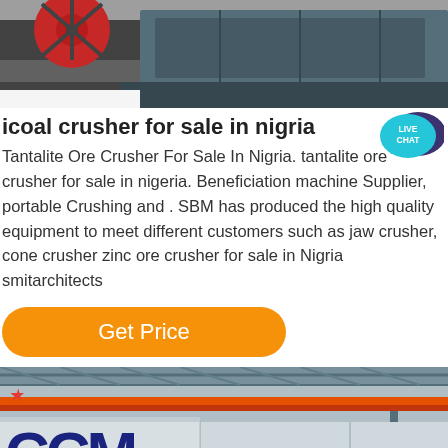[Figure (photo): Close-up photograph of industrial crusher machinery with a red circular wheel/pulley and metal conveyor parts on a white background.]
icoal crusher for sale in nigria
[Figure (other): Teal speech bubble badge with text LIVE CHAT and a dark purple speech bubble icon behind it.]
Tantalite Ore Crusher For Sale In Nigria. tantalite ore crusher for sale in nigeria. Beneficiation machine Supplier, portable Crushing and . SBM has produced the high quality equipment to meet different customers such as jaw crusher, cone crusher zinc ore crusher for sale in Nigria smitarchitects
[Figure (other): Orange rounded rectangle button with white text reading Get Price]
[Figure (photo): Industrial building interior with steel roof trusses, orange overhead crane beam, and large CCM logo with a red star visible on the left side.]